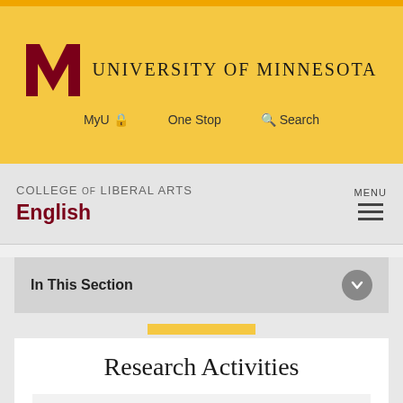University of Minnesota — College of Liberal Arts — English
In This Section
Research Activities
Read interviews with our outstanding faculty, see research interests, and view recent faculty